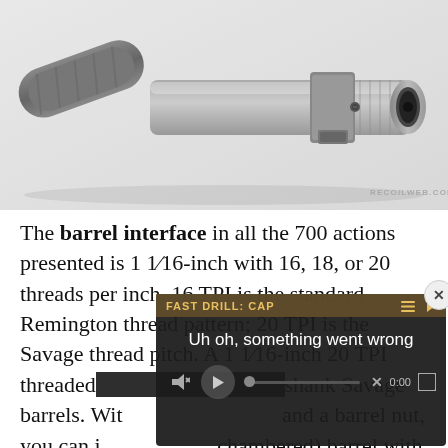[Figure (photo): Close-up photo of a firearm barrel interface/tool on white background, showing the barrel threads and muzzle end. Watermark 'RECOILWEB.COM' visible in bottom right.]
The barrel interface in all the 700 actions presented is 1 1/16-inch with 16, 18, or 20 threads per inch. 16 TPI is the standard Remington thread pattern; 20 TPI is the Savage thread pitch. A 1 1/16-inch 20 TPI threaded action can use small shank Savage barrels. With and a barrel nut, you can i chambered) barrel with a S wrench and a vise. You se
[Figure (screenshot): Video player overlay showing 'FAST DRILL: CAP' title in top bar, error message 'Uh oh, something went wrong', playback controls with play button, mute button, progress bar at 0:00, and fullscreen button. Close button (x) in top right corner.]